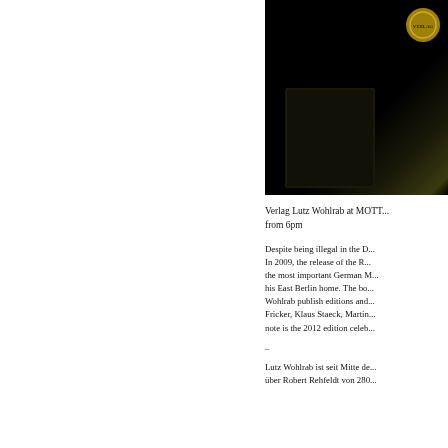[Figure (photo): Dark book cover photo with a gold seal/stamp visible in the upper right corner against a black background]
Verlag Lutz Wohlrab at MOTT... from 6pm
Despite being illegal in the D... In 2009, the release of the R... the most important German M... his East Berlin home. The bo... Wohlrab publish editions and... Fricker, Klaus Staeck, Martin... note is the 2012 edition celeb...
–
Lutz Wohlrab ist seit Mitte de... über Robert Rehfeldt von 280...